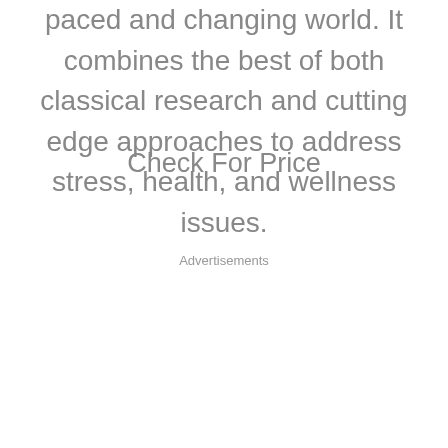paced and changing world. It combines the best of both classical research and cutting edge approaches to address stress, health, and wellness issues.
Check For Price
Advertisements